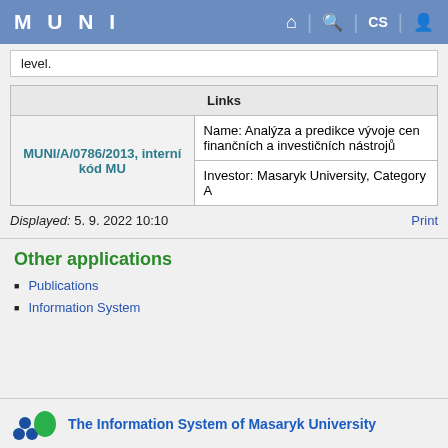MUNI
level.
| Links |
| --- |
| MUNI/A/0786/2013, interní kód MU | Name: Analýza a predikce vývoje cen finančních a investičních nástrojů |
| MUNI/A/0786/2013, interní kód MU | Investor: Masaryk University, Category A |
Displayed: 5. 9. 2022 10:10   Print
Other applications
Publications
Information System
The Information System of Masaryk University